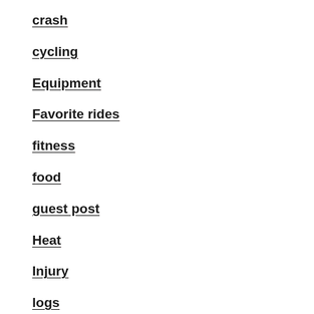crash
cycling
Equipment
Favorite rides
fitness
food
guest post
Heat
Injury
logs
Maintenance
Mental